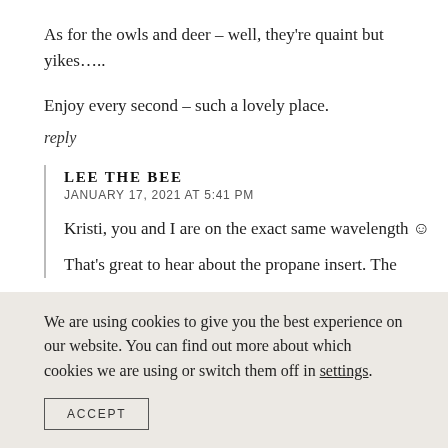As for the owls and deer – well, they're quaint but yikes…..
Enjoy every second – such a lovely place.
reply
LEE THE BEE
JANUARY 17, 2021 AT 5:41 PM
Kristi, you and I are on the exact same wavelength ☺
That's great to hear about the propane insert. The
We are using cookies to give you the best experience on our website. You can find out more about which cookies we are using or switch them off in settings.
ACCEPT